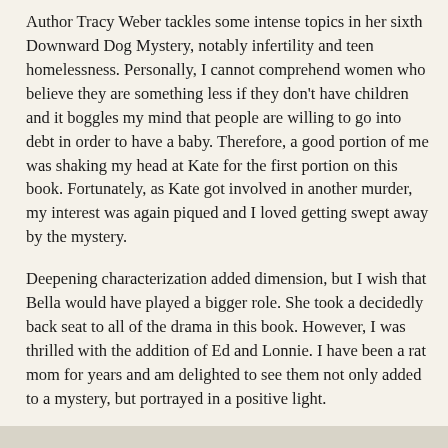Author Tracy Weber tackles some intense topics in her sixth Downward Dog Mystery, notably infertility and teen homelessness. Personally, I cannot comprehend women who believe they are something less if they don't have children and it boggles my mind that people are willing to go into debt in order to have a baby. Therefore, a good portion of me was shaking my head at Kate for the first portion on this book. Fortunately, as Kate got involved in another murder, my interest was again piqued and I loved getting swept away by the mystery.
Deepening characterization added dimension, but I wish that Bella would have played a bigger role. She took a decidedly back seat to all of the drama in this book. However, I was thrilled with the addition of Ed and Lonnie. I have been a rat mom for years and am delighted to see them not only added to a mystery, but portrayed in a positive light.
MURDER LIKES IT HOT is able to incorporate troubling societal issues into a compelling mystery.